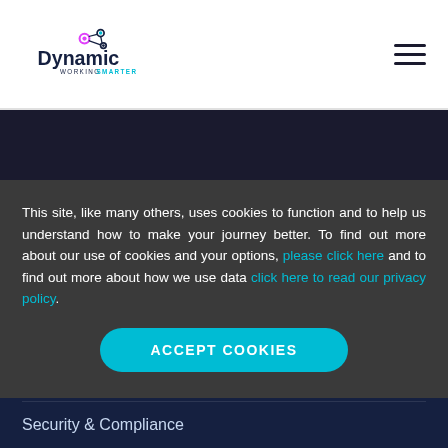Dynamic — Working Smarter [logo] [hamburger menu]
[Figure (screenshot): Dark navy hero image area]
This site, like many others, uses cookies to function and to help us understand how to make your journey better. To find out more about our use of cookies and your options, please click here and to find out more about how we use data click here to read our privacy policy.
ACCEPT COOKIES
Cloud Managed Services
Unified Comms
Security & Compliance